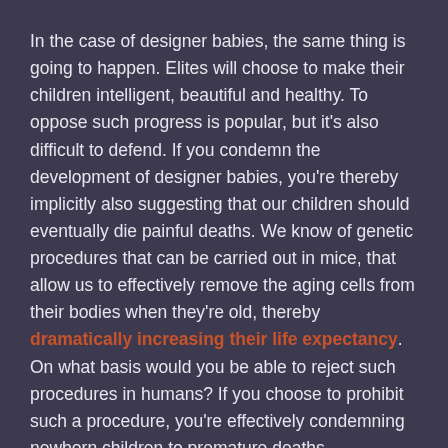In the case of designer babies, the same thing is going to happen. Elites will choose to make their children intelligent, beautiful and healthy. To oppose such progress is popular, but it's also difficult to defend. If you condemn the development of designer babies, you're thereby implicitly also suggesting that our children should eventually die painful deaths. We know of genetic procedures that can be carried out in mice, that allow us to effectively remove the aging cells from their bodies when they're old, thereby dramatically increasing their life expectancy. On what basis would you be able to reject such procedures in humans? If you choose to prohibit such a procedure, you're effectively condemning newborn children to premature deaths.
Of course on the other side of the curve, people are less conservative. If I were to take a child who would die from progeria and implement a stem-cell treatment with genetically altered cells that allow the child to live a normal healthy life, I'm not a monster, I'm a saint. It's alright to lift people up from disaster to mediocrity. It's taboo to lift people up from